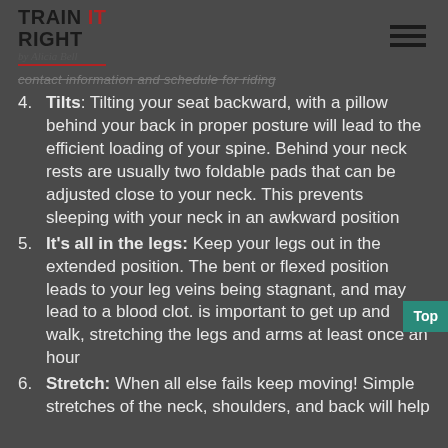Train It Right by Alicia Bell
...contact information and schedule for riding
Tilts: Tilting your seat backward, with a pillow behind your back in proper posture will lead to the efficient loading of your spine. Behind your neck rests are usually two foldable pads that can be adjusted close to your neck. This prevents sleeping with your neck in an awkward position
It's all in the legs: Keep your legs out in the extended position. The bent or flexed position leads to your leg veins being stagnant, and may lead to a blood clot. is important to get up and walk, stretching the legs and arms at least once an hour
Stretch: When all else fails keep moving! Simple stretches of the neck, shoulders, and back will help